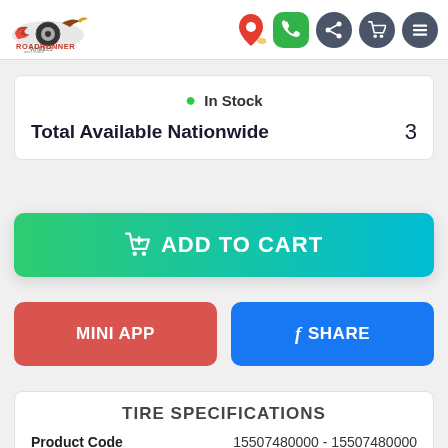[Figure (logo): Roadrunner Wheels and Tires logo with navigation icons (location, phone, share, cart, menu)]
• In Stock
Total Available Nationwide    3
🛒 ADD TO CART
MINI APP
f SHARE
TIRE SPECIFICATIONS
Product Code    15507480000 - 15507480000